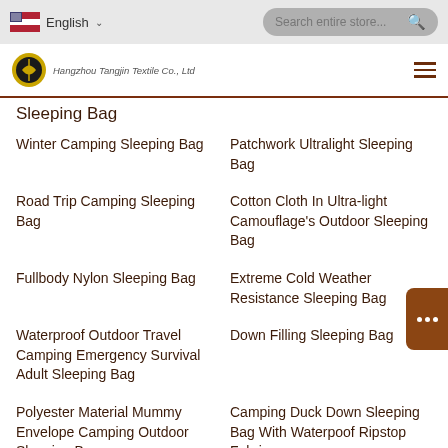English | Search entire store...
[Figure (logo): Hangzhou Tangjin Textile Co., Ltd logo with company name and hamburger menu icon]
Sleeping Bag
Winter Camping Sleeping Bag
Patchwork Ultralight Sleeping Bag
Road Trip Camping Sleeping Bag
Cotton Cloth In Ultra-light Camouflage's Outdoor Sleeping Bag
Fullbody Nylon Sleeping Bag
Extreme Cold Weather Resistance Sleeping Bag
Waterproof Outdoor Travel Camping Emergency Survival Adult Sleeping Bag
Down Filling Sleeping Bag
Polyester Material Mummy Envelope Camping Outdoor Sleeping Bag
Camping Duck Down Sleeping Bag With Waterpoof Ripstop Fabric